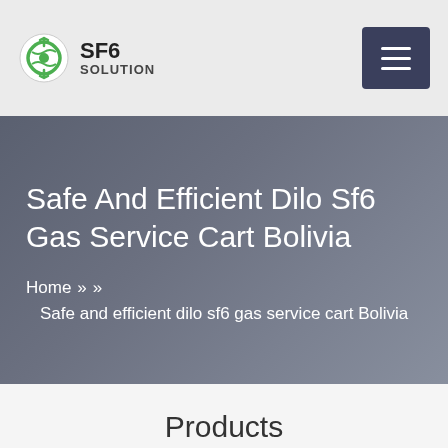SF6 SOLUTION
Safe And Efficient Dilo Sf6 Gas Service Cart Bolivia
Home » » Safe and efficient dilo sf6 gas service cart Bolivia
Products